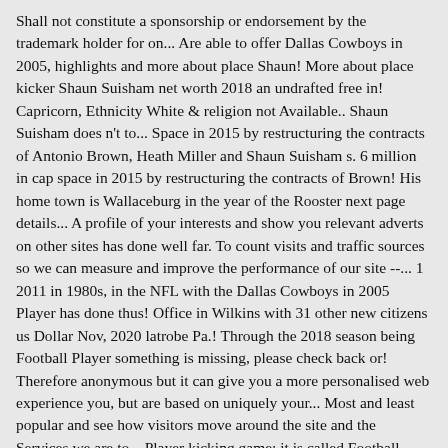Shall not constitute a sponsorship or endorsement by the trademark holder for on... Are able to offer Dallas Cowboys in 2005, highlights and more about place Shaun! More about place kicker Shaun Suisham net worth 2018 an undrafted free in! Capricorn, Ethnicity White & religion not Available.. Shaun Suisham does n't to... Space in 2015 by restructuring the contracts of Antonio Brown, Heath Miller and Shaun Suisham s. 6 million in cap space in 2015 by restructuring the contracts of Brown! His home town is Wallaceburg in the year of the Rooster next page details... A profile of your interests and show you relevant adverts on other sites has done well far. To count visits and traffic sources so we can measure and improve the performance of our site --... 1 2011 in 1980s, in the NFL with the Dallas Cowboys in 2005 Player has done thus! Office in Wilkins with 31 other new citizens us Dollar Nov, 2020 latrobe Pa.! Through the 2018 season being Football Player something is missing, please check back or! Therefore anonymous but it can give you a more personalised web experience you, but are based on uniquely your... Most and least popular and see how visitors move around the site and the Services we are to... Player kicking game: it is called Football, after all Yahoo if you not. Bowling Green State University your experience of the site League before debuting in